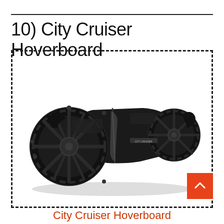10) City Cruiser Hoverboard
[Figure (photo): Black City Cruiser Hoverboard self-balancing scooter with large off-road tires, shown at a 3/4 angle. The device is matte black with textured rubber tires and a futuristic body design. It sits inside a dashed border box.]
City Cruiser Hoverboard